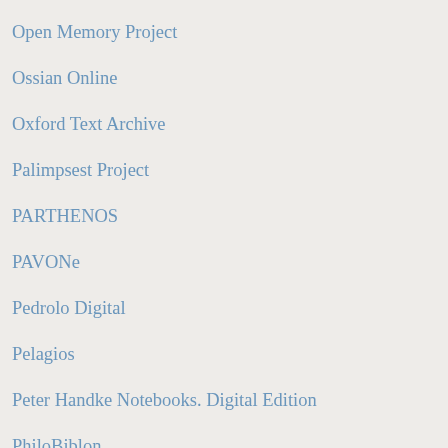Open Memory Project
Ossian Online
Oxford Text Archive
Palimpsest Project
PARTHENOS
PAVONe
Pedrolo Digital
Pelagios
Peter Handke Notebooks. Digital Edition
PhiloBiblon
PLUGGY
PoLet500 - Polemiche Letterarie del Cinquecento
Polish Literature Newsletter
Polo digitale degli istituti culturali di Napoli
Polymath Virtual Library
PRISMS
Private Ducal Correspondences in Early Modern Germany